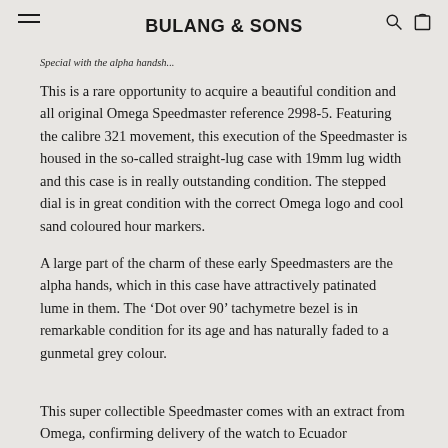BULANG & SONS
Special with the alpha handsh...
This is a rare opportunity to acquire a beautiful condition and all original Omega Speedmaster reference 2998-5. Featuring the calibre 321 movement, this execution of the Speedmaster is housed in the so-called straight-lug case with 19mm lug width and this case is in really outstanding condition. The stepped dial is in great condition with the correct Omega logo and cool sand coloured hour markers.
A large part of the charm of these early Speedmasters are the alpha hands, which in this case have attractively patinated lume in them. The ‘Dot over 90’ tachymetre bezel is in remarkable condition for its age and has naturally faded to a gunmetal grey colour.
This super collectible Speedmaster comes with an extract from Omega, confirming delivery of the watch to Ecuador...